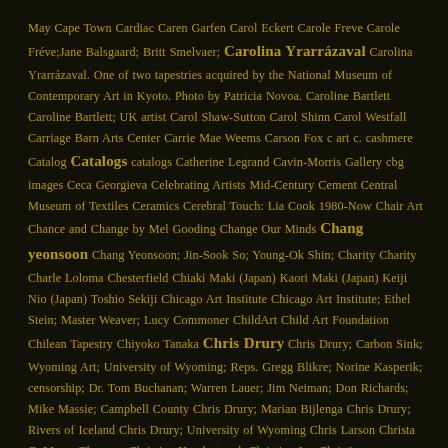May Cape Town Cardiac Caren Garfen Carol Eckert Carole Freve Carole Fréve;Jane Balsgaard; Britt Smelvaer; Carolina Yrarrázaval Carolina Yrarrázaval. One of two tapestries acquired by the National Museum of Contemporary Art in Kyoto. Photo by Patricia Novoa. Caroline Bartlett Caroline Bartlett; UK artist Carol Shaw-Sutton Carol Shinn Carol Westfall Carriage Barn Arts Center Carrie Mae Weems Carson Fox c art c. cashmere Catalog Catalogs catalogs Catherine Legrand Cavin-Morris Gallery cbg images Ceca Georgieva Celebrating Artists Mid-Century Cement Central Museum of Textiles Ceramics Cerebral Touch: Lia Cook 1980-Now Chair Art Chance and Change by Mel Gooding Change Our Minds Chang yeonsoon Chang Yeonsoon; Jin-Sook So; Young-Ok Shin; Charity Charity Charle Loloma Chesterfield Chiaki Maki (Japan) Kaori Maki (Japan) Keiji Nio (Japan) Toshio Sekiji Chicago Art Institute Chicago Art Institute; Ethel Stein; Master Weaver; Lucy Commoner ChildArt Child Art Foundation Chilean Tapestry Chiyoko Tanaka Chris Drury Chris Drury; Carbon Sink; Wyoming Art; University of Wyoming; Reps. Gregg Blikre; Norine Kasperik; censorship; Dr. Tom Buchanan; Warren Lauer; Jim Neiman; Don Richards; Mike Massie; Campbell County Chris Drury; Marian Bijlenga Chris Drury; Rivers of Iceland Chris Drury; University of Wyoming Chris Larson Christa C. Mayer Thurman Christian Hundertmark Christine Joy Christine oy Christopher Volpe Chronicling Fiber for Three Decades Chronicling the Canon; 50 catalogs; catalog lookback Chunghie Lee Claire Zeisler Classes Classes Classic American Bird